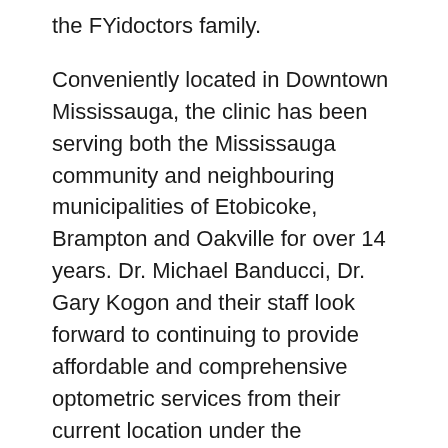the FYidoctors family.
Conveniently located in Downtown Mississauga, the clinic has been serving both the Mississauga community and neighbouring municipalities of Etobicoke, Brampton and Oakville for over 14 years. Dr. Michael Banducci, Dr. Gary Kogon and their staff look forward to continuing to provide affordable and comprehensive optometric services from their current location under the FYidoctors banner.
“We have always believed that listening to your patients’ concerns and taking the time to understand their complete history is the way in which eye care should be approached,” said Dr. Michael Banducci. “Our decision to join the FYidoctors family was due to the fact that they share the same value for that comprehensive approach and will offer both us and